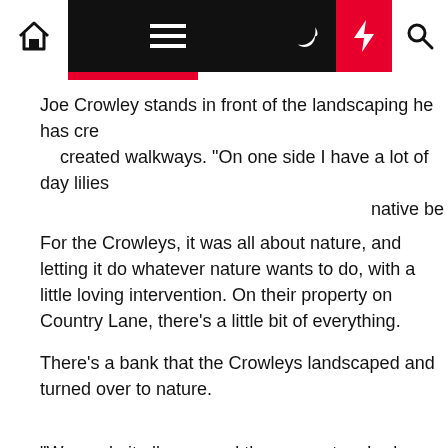Navigation bar with home, menu, moon, flash, and search icons
Joe Crowley stands in front of the landscaping he has created walkways. "On one side I have a lot of day lilies native be
For the Crowleys, it was all about nature, and letting it do whatever nature wants to do, with a little loving intervention. On their property on Country Lane, there's a little bit of everything.
There's a bank that the Crowleys landscaped and turned over to nature.
“We made it all even and then we put on bark mulch,” Celeste says, “and that's when we started planting our native trees, bushes, perennials and even wildflowers. We purposely allow wildflowers to grow. Even, like, black-eyed Susans. We'll dig them